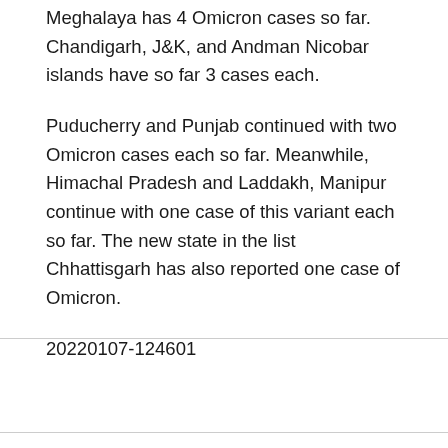Meghalaya has 4 Omicron cases so far. Chandigarh, J&K, and Andman Nicobar islands have so far 3 cases each.
Puducherry and Punjab continued with two Omicron cases each so far. Meanwhile, Himachal Pradesh and Laddakh, Manipur continue with one case of this variant each so far. The new state in the list Chhattisgarh has also reported one case of Omicron.
20220107-124601